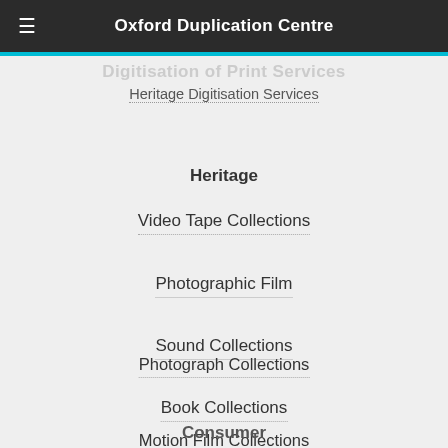Oxford Duplication Centre
Heritage Digitisation Services
Heritage
Video Tape Collections
Photographic Film
Sound Collections
Book Collections
Motion Film Collections
Photograph Collections
Consumer